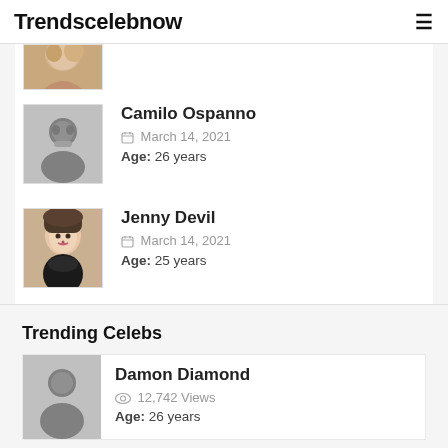Trendscelebnow
[Figure (photo): Partial photo of a person with blonde hair, cropped at top]
Camilo Ospanno | March 14, 2021 | Age: 26 years
Jenny Devil | March 14, 2021 | Age: 25 years
Trending Celebs
Damon Diamond | 12,742 Views | Age: 26 years